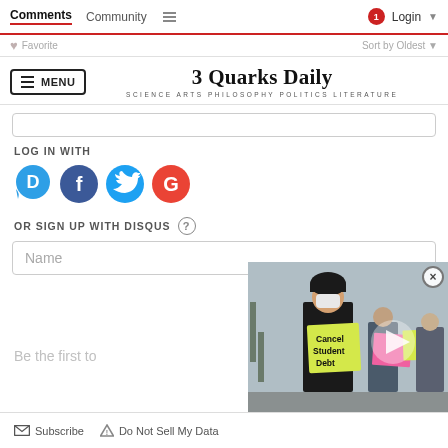Comments  Community  Login
Favorite  Sort by Oldest
3 Quarks Daily — SCIENCE ARTS PHILOSOPHY POLITICS LITERATURE
LOG IN WITH
[Figure (infographic): Social login icons: Disqus (blue speech bubble with D), Facebook (dark blue circle with f), Twitter (light blue circle with bird), Google (red circle with G)]
OR SIGN UP WITH DISQUS ?
Name
Be the first to
[Figure (photo): Video overlay showing a protest scene with people holding yellow signs reading 'Cancel Student Debt' and pink signs, with a play button overlay and close X button]
Subscribe  Do Not Sell My Data